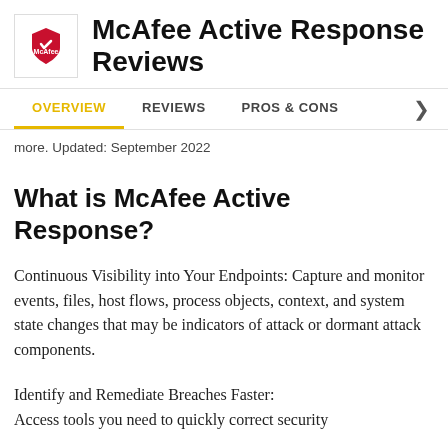McAfee Active Response Reviews
OVERVIEW | REVIEWS | PROS & CONS
more. Updated: September 2022
What is McAfee Active Response?
Continuous Visibility into Your Endpoints: Capture and monitor events, files, host flows, process objects, context, and system state changes that may be indicators of attack or dormant attack components.
Identify and Remediate Breaches Faster: Access tools you need to quickly correct security